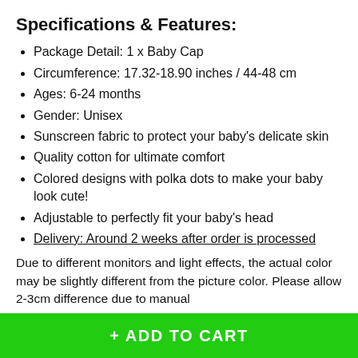Specifications & Features:
Package Detail: 1 x Baby Cap
Circumference: 17.32-18.90 inches / 44-48 cm
Ages: 6-24 months
Gender: Unisex
Sunscreen fabric to protect your baby's delicate skin
Quality cotton for ultimate comfort
Colored designs with polka dots to make your baby look cute!
Adjustable to perfectly fit your baby's head
Delivery: Around 2 weeks after order is processed
Due to different monitors and light effects, the actual color may be slightly different from the picture color. Please allow 2-3cm difference due to manual
+ ADD TO CART